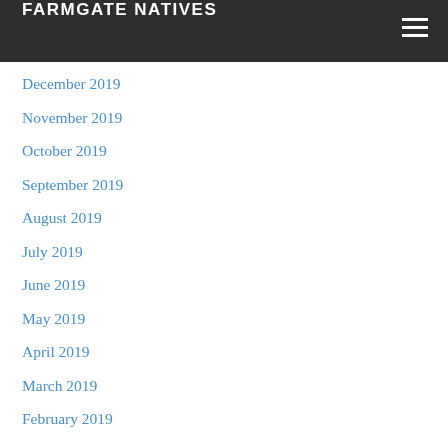FARMGATE NATIVES
December 2019
November 2019
October 2019
September 2019
August 2019
July 2019
June 2019
May 2019
April 2019
March 2019
February 2019
January 2019
December 2018
November 2018
October 2018
September 2018
August 2018